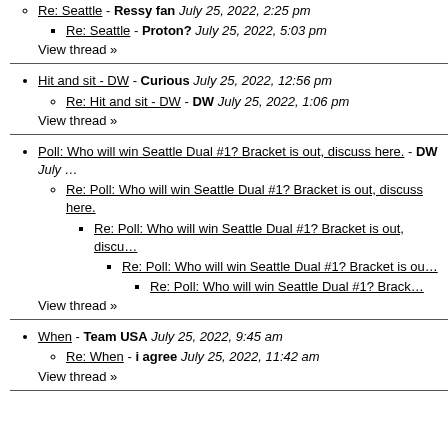Re: Seattle - Ressy fan July 25, 2022, 2:25 pm
Re: Seattle - Proton? July 25, 2022, 5:03 pm
View thread »
Hit and sit - DW - Curious July 25, 2022, 12:56 pm
Re: Hit and sit - DW - DW July 25, 2022, 1:06 pm
View thread »
Poll: Who will win Seattle Dual #1? Bracket is out, discuss here. - DW July …
Re: Poll: Who will win Seattle Dual #1? Bracket is out, discuss here.
Re: Poll: Who will win Seattle Dual #1? Bracket is out, discu…
Re: Poll: Who will win Seattle Dual #1? Bracket is ou…
Re: Poll: Who will win Seattle Dual #1? Brack…
View thread »
When - Team USA July 25, 2022, 9:45 am
Re: When - i agree July 25, 2022, 11:42 am
View thread »